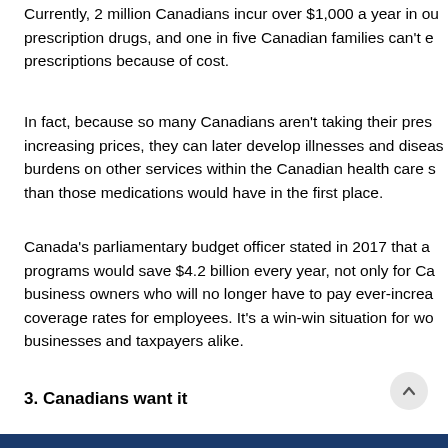Currently, 2 million Canadians incur over $1,000 a year in out-of-pocket costs for prescription drugs, and one in five Canadian families can't even fill their prescriptions because of cost.
In fact, because so many Canadians aren't taking their prescriptions due to increasing prices, they can later develop illnesses and diseases that create greater burdens on other services within the Canadian health care system, costing far more than those medications would have in the first place.
Canada's parliamentary budget officer stated in 2017 that a national pharmacare programs would save $4.2 billion every year, not only for Canadians, but also for business owners who will no longer have to pay ever-increasing supplemental drug coverage rates for employees. It's a win-win situation for workers, families, businesses and taxpayers alike.
3. Canadians want it